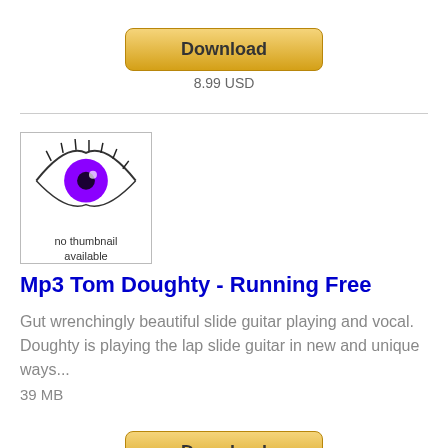[Figure (other): Yellow Download button at top]
8.99 USD
[Figure (photo): Thumbnail image of a purple eye with text 'no thumbnail available']
Mp3 Tom Doughty - Running Free
Gut wrenchingly beautiful slide guitar playing and vocal. Doughty is playing the lap slide guitar in new and unique ways...
39 MB
[Figure (other): Yellow Download button at bottom]